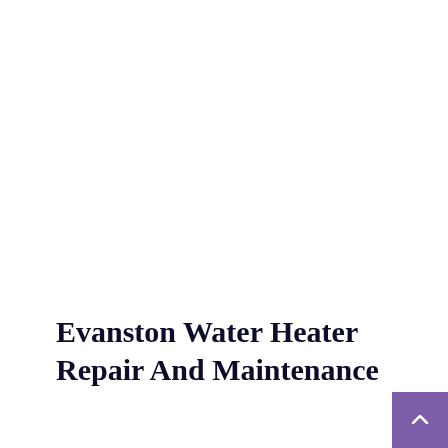Evanston Water Heater Repair And Maintenance